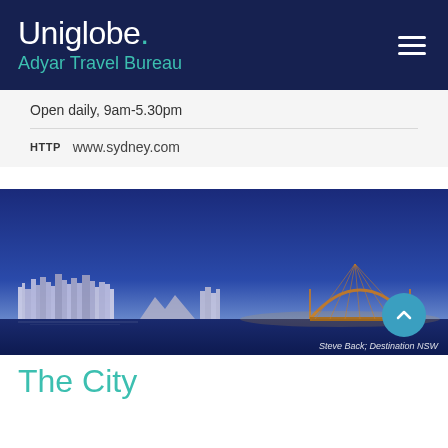Uniglobe. Adyar Travel Bureau
Open daily, 9am-5.30pm
HTTP www.sydney.com
[Figure (photo): Panoramic nighttime photo of Sydney cityscape and Harbour Bridge at dusk with blue sky gradient]
Steve Back; Destination NSW
The City